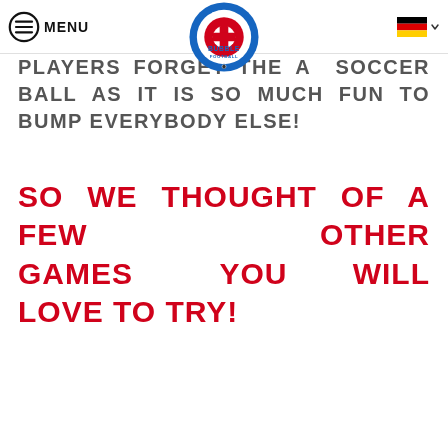MENU | Swiss Bubble Football logo | German flag language selector
PLAYERS FORGET THE A SOCCER BALL AS IT IS SO MUCH FUN TO BUMP EVERYBODY ELSE!
SO WE THOUGHT OF A FEW OTHER GAMES YOU WILL LOVE TO TRY!